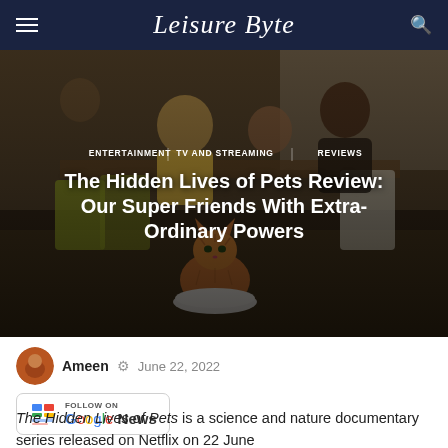Leisure Byte
[Figure (photo): Hero image showing a family sitting around a table, with an orange tabby cat in the foreground sitting on a round robot vacuum cleaner. Dark moody lighting.]
ENTERTAINMENT   TV AND STREAMING   REVIEWS
The Hidden Lives of Pets Review: Our Super Friends With Extra-Ordinary Powers
Ameen  ⚙  June 22, 2022
[Figure (logo): Follow on Google News button]
The Hidden Lives of Pets is a science and nature documentary series released on Netflix on 22 June